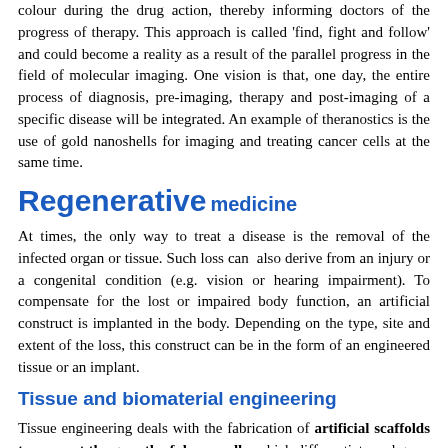colour during the drug action, thereby informing doctors of the progress of therapy. This approach is called 'find, fight and follow' and could become a reality as a result of the parallel progress in the field of molecular imaging. One vision is that, one day, the entire process of diagnosis, pre-imaging, therapy and post-imaging of a specific disease will be integrated. An example of theranostics is the use of gold nanoshells for imaging and treating cancer cells at the same time.
Regenerative medicine
At times, the only way to treat a disease is the removal of the infected organ or tissue. Such loss can also derive from an injury or a congenital condition (e.g. vision or hearing impairment). To compensate for the lost or impaired body function, an artificial construct is implanted in the body. Depending on the type, site and extent of the loss, this construct can be in the form of an engineered tissue or an implant.
Tissue and biomaterial engineering
Tissue engineering deals with the fabrication of artificial scaffolds to support the growth of donor cells, which differentiate and grow into a tissue that mimics the lost natural one. This tissue